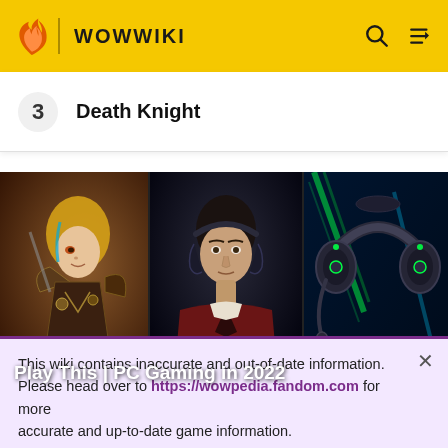WOWWIKI
3  Death Knight
[Figure (screenshot): Three-panel image banner showing: left panel - illustrated game character (blonde female warrior in fantasy armor), center panel - young man wearing gaming headset in dark setting, right panel - gaming headset with green neon lighting. Text overlay reads: Play This | PC Gaming in 2022]
Play This | PC Gaming in 2022
This wiki contains inaccurate and out-of-date information. Please head over to https://wowpedia.fandom.com for more accurate and up-to-date game information.